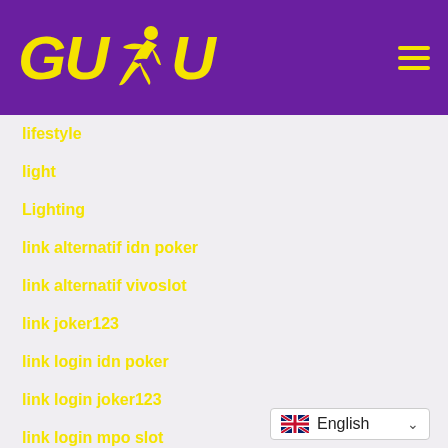GUDU (logo with runner icon) — hamburger menu
lifestyle
light
Lighting
link alternatif idn poker
link alternatif vivoslot
link joker123
link login idn poker
link login joker123
link login mpo slot
link login sv388
link popularity
link slot
link slot online indonesia
English (language selector)